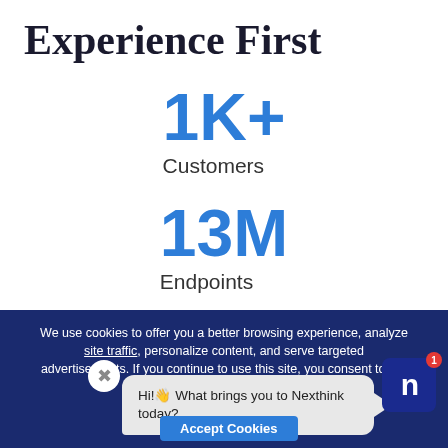Experience First
1K+
Customers
13M
Endpoints
We use cookies to offer you a better browsing experience, analyze site traffic, personalize content, and serve targeted advertisements. If you continue to use this site, you consent to our
Hi! What brings you to Nexthink today?
Accept Cookies